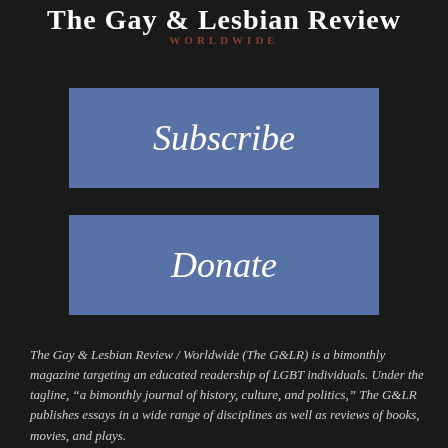The Gay & Lesbian Review WORLDWIDE
[Figure (other): Blue Subscribe button]
[Figure (other): Blue Donate button]
The Gay & Lesbian Review / Worldwide (The G&LR) is a bimonthly magazine targeting an educated readership of LGBT individuals. Under the tagline, “a bimonthly journal of history, culture, and politics,” The G&LR publishes essays in a wide range of disciplines as well as reviews of books, movies, and plays.